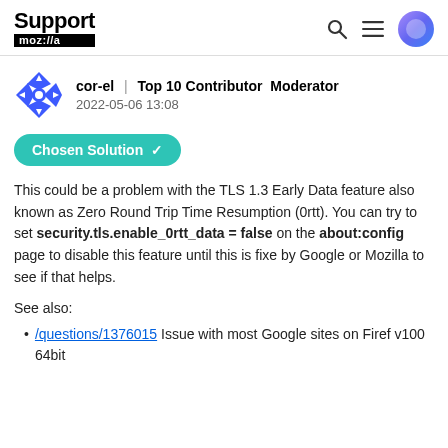Support moz://a
cor-el | Top 10 Contributor Moderator
2022-05-06 13:08
Chosen Solution ✓
This could be a problem with the TLS 1.3 Early Data feature also known as Zero Round Trip Time Resumption (0rtt). You can try to set security.tls.enable_0rtt_data = false on the about:config page to disable this feature until this is fixed by Google or Mozilla to see if that helps.
See also:
/questions/1376015 Issue with most Google sites on Firefox v100 64bit